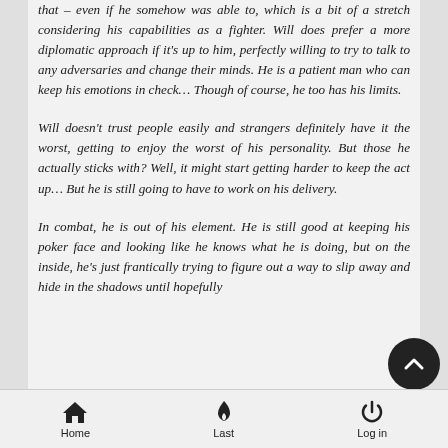that – even if he somehow was able to, which is a bit of a stretch considering his capabilities as a fighter. Will does prefer a more diplomatic approach if it's up to him, perfectly willing to try to talk to any adversaries and change their minds. He is a patient man who can keep his emotions in check… Though of course, he too has his limits.
Will doesn't trust people easily and strangers definitely have it the worst, getting to enjoy the worst of his personality. But those he actually sticks with? Well, it might start getting harder to keep the act up… But he is still going to have to work on his delivery.
In combat, he is out of his element. He is still good at keeping his poker face and looking like he knows what he is doing, but on the inside, he's just frantically trying to figure out a way to slip away and hide in the shadows until hopefully
Home    Last    Log in